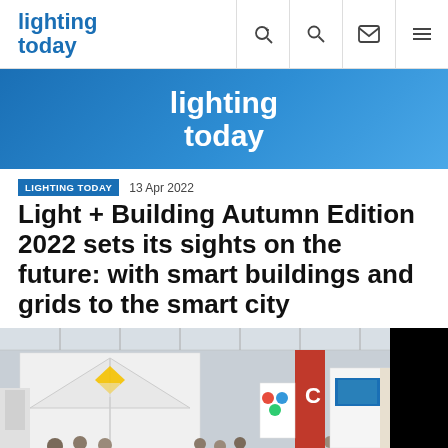lighting today
[Figure (logo): Lighting Today banner logo on blue gradient background]
LIGHTING TODAY  13 Apr 2022
Light + Building Autumn Edition 2022 sets its sights on the future: with smart buildings and grids to the smart city
[Figure (photo): Exhibition hall floor at Light + Building trade show with attendees walking among white exhibition stands, a red banner with letter C, and various display booths]